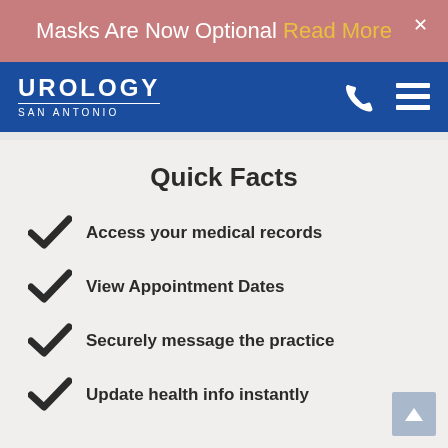Masks Are Now Optional Read More
[Figure (logo): Urology San Antonio logo — white text on blue navbar with phone and menu icons]
Quick Facts
Access your medical records
View Appointment Dates
Securely message the practice
Update health info instantly